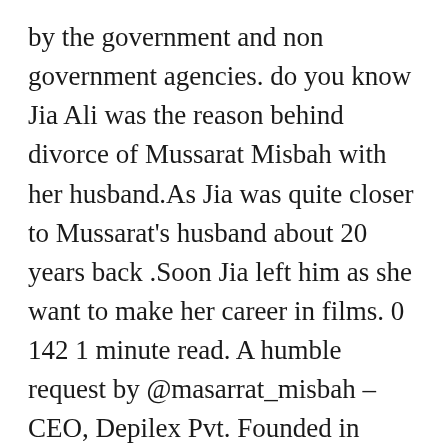by the government and non government agencies. do you know Jia Ali was the reason behind divorce of Mussarat Misbah with her husband.As Jia was quite closer to Mussarat's husband about 20 years back .Soon Jia left him as she want to make her career in films. 0 142 1 minute read. A humble request by @masarrat_misbah – CEO, Depilex Pvt. Founded in 1980 by the visionary Masarrat Misbah, Depilex has grown from a single premise providing professional beauty relaxation and training services to 70 locations nationwide. Masarrat Misbah from the comfort of your own home! Over the years, Depilex has gained greater expertise and with more opportunity of its specialized…